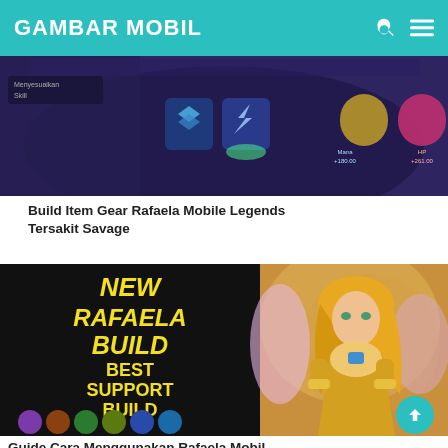GAMBAR MOBIL
[Figure (screenshot): Mobile Legends build item gear screen showing skill icons, mana and HP stats with purple/dark UI background]
Build Item Gear Rafaela Mobile Legends Tersakit Savage
[Figure (screenshot): Split image: left half shows dark background with yellow bold text 'NEW RAFAELA BUILD BEST SUPPORT BUILD' and item icons at bottom; right half shows Rafaela character artwork (blonde angel woman in gold armor)]
Guide Cara Menggunakan Rafaela Mobil...